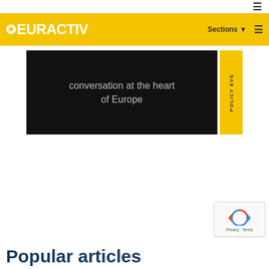[Figure (logo): EURACTIV logo with yellow star on yellow header bar]
[Figure (screenshot): Banner with black background showing text 'conversation at the heart of Europe' and yellow side tab with 'POLICY EVE' text rotated vertically]
[Figure (other): reCAPTCHA badge with spinning arrows icon and Privacy - Terms links]
Popular articles